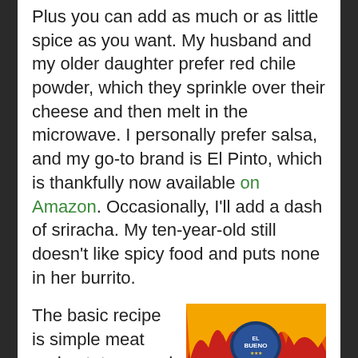Plus you can add as much or as little spice as you want. My husband and my older daughter prefer red chile powder, which they sprinkle over their cheese and then melt in the microwave. I personally prefer salsa, and my go-to brand is El Pinto, which is thankfully now available on Amazon. Occasionally, I'll add a dash of sriracha. My ten-year-old still doesn't like spicy food and puts none in her burrito.
The basic recipe is simple meat and potatoes, and the key to its flavor is Mexican oregano. A completely different species from Italian oregano, it has...
[Figure (photo): A red package of El Bueno brand Mexican Oregano, showing the product label with flames design and the herb contents visible through clear packaging.]